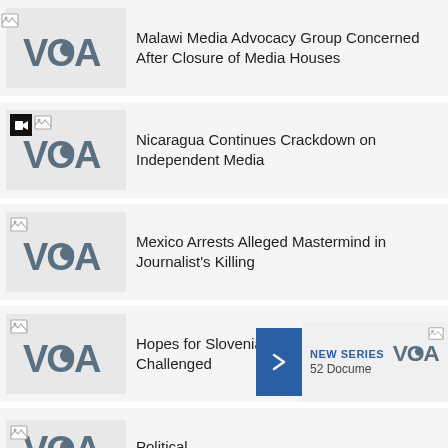Malawi Media Advocacy Group Concerned After Closure of Media Houses
Nicaragua Continues Crackdown on Independent Media
Mexico Arrests Alleged Mastermind in Journalist's Killing
Hopes for Slovenia's Public TV Reset Challenged
[Figure (infographic): Overlay popup with blue arrow button and VOA card showing NEW SERIES and 52 Docume...]
Political